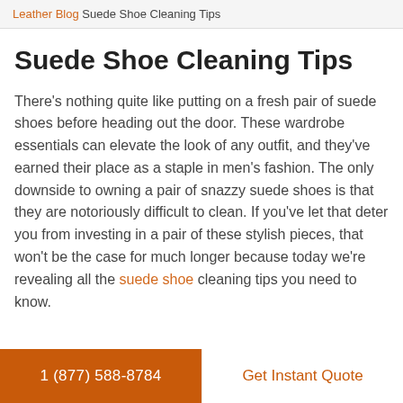Leather Blog Suede Shoe Cleaning Tips
Suede Shoe Cleaning Tips
There's nothing quite like putting on a fresh pair of suede shoes before heading out the door. These wardrobe essentials can elevate the look of any outfit, and they've earned their place as a staple in men's fashion. The only downside to owning a pair of snazzy suede shoes is that they are notoriously difficult to clean. If you've let that deter you from investing in a pair of these stylish pieces, that won't be the case for much longer because today we're revealing all the suede shoe cleaning tips you need to know.
1 (877) 588-8784   Get Instant Quote